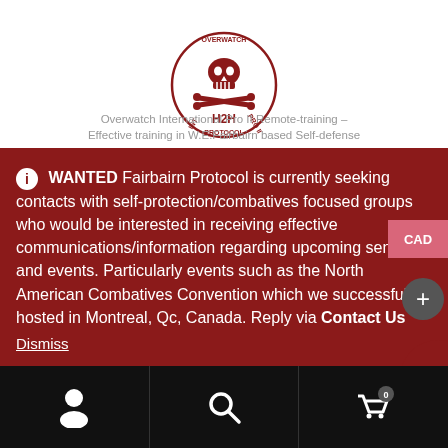[Figure (logo): Overwatch H2H Protocol circular skull logo in dark red]
Overwatch International Pro II Remote-training – Effective training in W.E.Fairbairn based Self-defense
WANTED Fairbairn Protocol is currently seeking contacts with self-protection/combatives focused groups who would be interested in receiving effective communications/information regarding upcoming seminars and events. Particularly events such as the North American Combatives Convention which we successfully hosted in Montreal, Qc, Canada. Reply via Contact Us
Dismiss